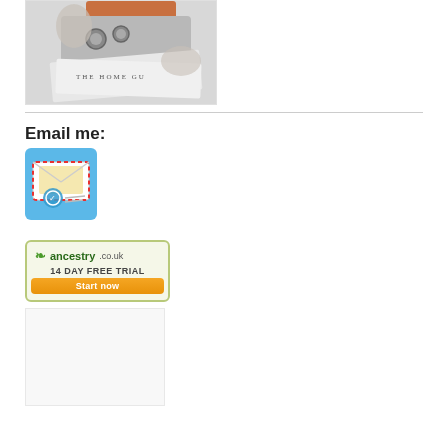[Figure (photo): A decorative image showing memorabilia including what appears to be a Home Guard badge/medal on papers with text 'THE HOME GU...']
Email me:
[Figure (illustration): Email icon showing an open envelope with a letter inside, with a blue background and red border dashes]
[Figure (illustration): Ancestry.co.uk advertisement banner with logo, '14 DAY FREE TRIAL' text and 'Start now' orange button]
[Figure (other): Partially visible white/light gray box below ancestry banner]